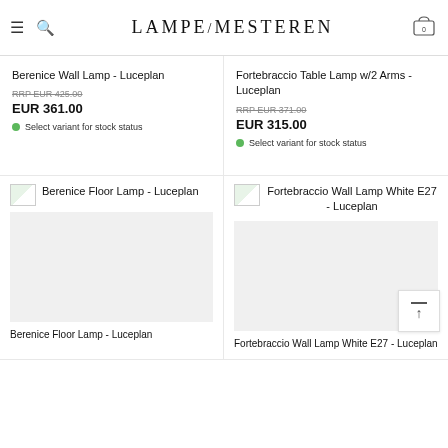LampeMesteren - navigation header with hamburger menu, search icon, logo, and cart (0)
Berenice Wall Lamp - Luceplan
RRP EUR 425.00
EUR 361.00
Select variant for stock status
Fortebraccio Table Lamp w/2 Arms - Luceplan
RRP EUR 371.00
EUR 315.00
Select variant for stock status
[Figure (screenshot): Product listing card for Berenice Floor Lamp - Luceplan with placeholder image]
[Figure (screenshot): Product listing card for Fortebraccio Wall Lamp White E27 - Luceplan with placeholder image]
Berenice Floor Lamp - Luceplan
Fortebraccio Wall Lamp White E27 - Luceplan